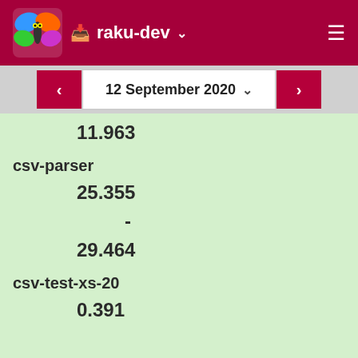raku-dev
12 September 2020
11.963
csv-parser
25.355
-
29.464
csv-test-xs-20
0.391